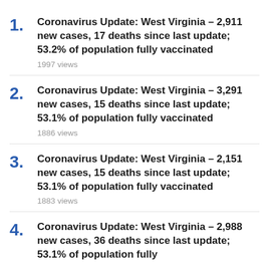1. Coronavirus Update: West Virginia – 2,911 new cases, 17 deaths since last update; 53.2% of population fully vaccinated
1997 views
2. Coronavirus Update: West Virginia – 3,291 new cases, 15 deaths since last update; 53.1% of population fully vaccinated
1886 views
3. Coronavirus Update: West Virginia – 2,151 new cases, 15 deaths since last update; 53.1% of population fully vaccinated
1883 views
4. Coronavirus Update: West Virginia – 2,988 new cases, 36 deaths since last update; 53.1% of population fully